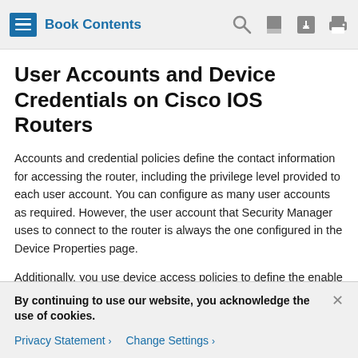Book Contents
User Accounts and Device Credentials on Cisco IOS Routers
Accounts and credential policies define the contact information for accessing the router, including the privilege level provided to each user account. You can configure as many user accounts as required. However, the user account that Security Manager uses to connect to the router is always the one configured in the Device Properties page.
Additionally, you use device access policies to define the enable or enable secret password required to access privileged EXEC mode. This is the mode required to make any configuration changes on the router.
By continuing to use our website, you acknowledge the use of cookies.
Privacy Statement > Change Settings >